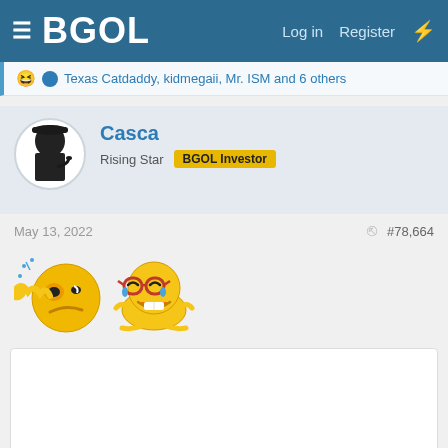BGOL  Log in  Register
Texas Catdaddy, kidmegaii, Mr. ISM and 6 others
Casca
Rising Star  BGOL Investor
May 13, 2022  #78,664
[Figure (illustration): Two emoji emoticons: a yellow smiley being slapped/smacked and a yellow laughing-crying smiley lying on the ground]